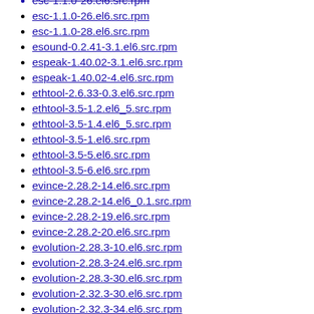esc-1.1.0-26.el6.src.rpm
esc-1.1.0-28.el6.src.rpm
esound-0.2.41-3.1.el6.src.rpm
espeak-1.40.02-3.1.el6.src.rpm
espeak-1.40.02-4.el6.src.rpm
ethtool-2.6.33-0.3.el6.src.rpm
ethtool-3.5-1.2.el6_5.src.rpm
ethtool-3.5-1.4.el6_5.src.rpm
ethtool-3.5-1.el6.src.rpm
ethtool-3.5-5.el6.src.rpm
ethtool-3.5-6.el6.src.rpm
evince-2.28.2-14.el6.src.rpm
evince-2.28.2-14.el6_0.1.src.rpm
evince-2.28.2-19.el6.src.rpm
evince-2.28.2-20.el6.src.rpm
evolution-2.28.3-10.el6.src.rpm
evolution-2.28.3-24.el6.src.rpm
evolution-2.28.3-30.el6.src.rpm
evolution-2.32.3-30.el6.src.rpm
evolution-2.32.3-34.el6.src.rpm
evolution-2.32.3-36.el6.src.rpm
evolution-2.32.3-37.el6.src.rpm
evolution-data-server-2.28.3-10.el6.src.rpm
evolution-data-server-2.28.3-15.el6.src.rpm
evolution-data-server-2.28.3-16.el6.src.rpm